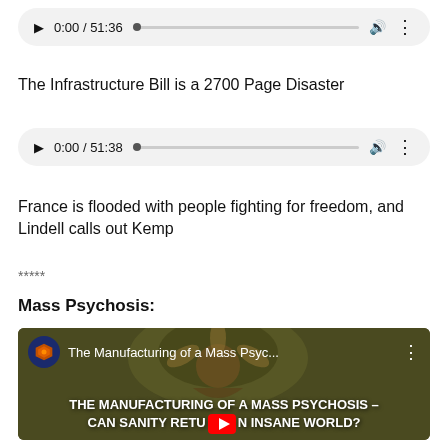[Figure (screenshot): Audio player widget showing 0:00 / 51:36 with play button, progress bar, volume and menu icons on a light gray rounded rectangle background]
The Infrastructure Bill is a 2700 Page Disaster
[Figure (screenshot): Audio player widget showing 0:00 / 51:38 with play button, progress bar, volume and menu icons on a light gray rounded rectangle background]
France is flooded with people fighting for freedom, and Lindell calls out Kemp
*****
Mass Psychosis:
[Figure (screenshot): YouTube video thumbnail for 'The Manufacturing of a Mass Psyc...' showing a dark olive/brown background with artistic illustration and bold white text overlay reading 'THE MANUFACTURING OF A MASS PSYCHOSIS - CAN SANITY RETURN IN INSANE WORLD?' with channel icon (dark blue circle with orange hexagon logo) and YouTube play button overlay]